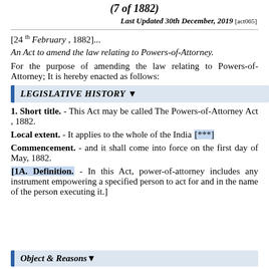(7 of 1882)
Last Updated 30th December, 2019 [act065]
[24 th February , 1882]...
An Act to amend the law relating to Powers-of-Attorney.
For the purpose of amending the law relating to Powers-of-Attorney; It is hereby enacted as follows:
LEGISLATIVE HISTORY ▼
1. Short title. - This Act may be called The Powers-of-Attorney Act , 1882.
Local extent. - It applies to the whole of the India [***]
Commencement. - and it shall come into force on the first day of May, 1882.
[1A. Definition. - In this Act, power-of-attorney includes any instrument empowering a specified person to act for and in the name of the person executing it.]
Object & Reasons▼